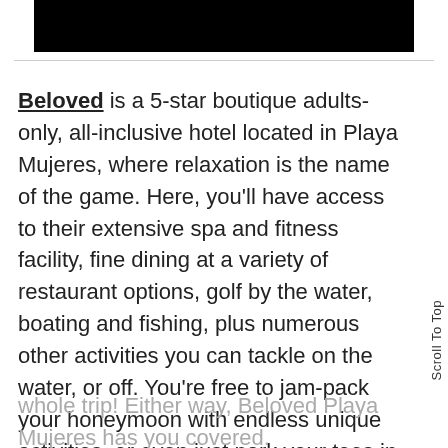[Figure (other): Black rectangular image/banner at top of page]
Beloved is a 5-star boutique adults-only, all-inclusive hotel located in Playa Mujeres, where relaxation is the name of the game. Here, you'll have access to their extensive spa and fitness facility, fine dining at a variety of restaurant options, golf by the water, boating and fishing, plus numerous other activities you can tackle on the water, or off. You're free to jam-pack your honeymoon with endless unique activities, or even just park your toes in the sand for the whole trip! Either way, Beloved Playa Mujeres has you covered.